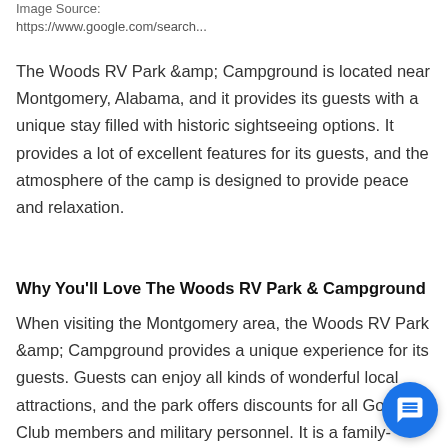Image Source:
https://www.google.com/search...
The Woods RV Park &amp; Campground is located near Montgomery, Alabama, and it provides its guests with a unique stay filled with historic sightseeing options. It provides a lot of excellent features for its guests, and the atmosphere of the camp is designed to provide peace and relaxation.
Why You'll Love The Woods RV Park & Campground
When visiting the Montgomery area, the Woods RV Park &amp; Campground provides a unique experience for its guests. Guests can enjoy all kinds of wonderful local attractions, and the park offers discounts for all Goo Club members and military personnel. It is a family-oriented